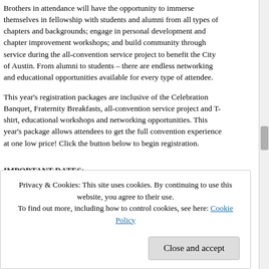Brothers in attendance will have the opportunity to immerse themselves in fellowship with students and alumni from all types of chapters and backgrounds; engage in personal development and chapter improvement workshops; and build community through service during the all-convention service project to benefit the City of Austin. From alumni to students – there are endless networking and educational opportunities available for every type of attendee.
This year's registration packages are inclusive of the Celebration Banquet, Fraternity Breakfasts, all-convention service project and T-shirt, educational workshops and networking opportunities. This year's package allows attendees to get the full convention experience at one low price! Click the button below to begin registration.
IMPORTANT DATES:
o  Early Bird Registration Deadline: 11/15/2018 @ 5 PM CST
o  Final Online Registration Deadline: 12/5/2018 @ 5 PM CST
o  Hotel Reservation Deadline: 12/4/2018 @ 5 PM CST
Privacy & Cookies: This site uses cookies. By continuing to use this website, you agree to their use.
To find out more, including how to control cookies, see here: Cookie Policy